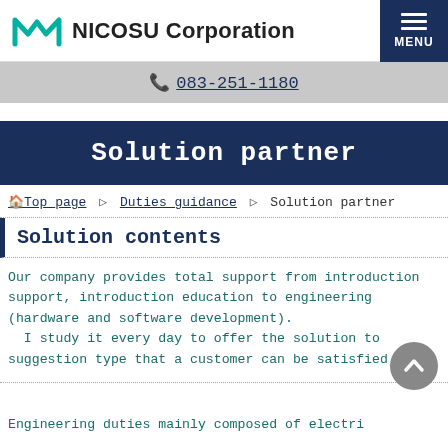NICOSU Corporation
📞 083-251-1180
Solution partner
Top page ▶ Duties guidance ▶ Solution partner
Solution contents
Our company provides total support from introduction support, introduction education to engineering (hardware and software development). I study it every day to offer the solution to suggestion type that a customer can be satisfied with.
Engineering duties mainly composed of electric